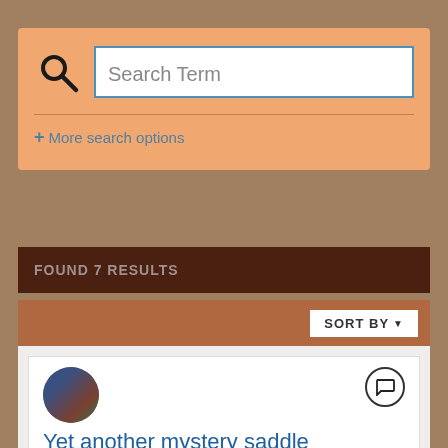[Figure (screenshot): Search interface with search term input box and magnifying glass icon]
Search Term
+ More search options
FOUND 7 RESULTS
SORT BY
[Figure (screenshot): Search result card with user avatar and comment icon]
Yet another mystery saddle
JJP5956 posted a topic in Leatherwork Conversation
This old beauty, I have been riding in since the early 1980's. It was purchased from a fella named Bill House and he claimed to be one